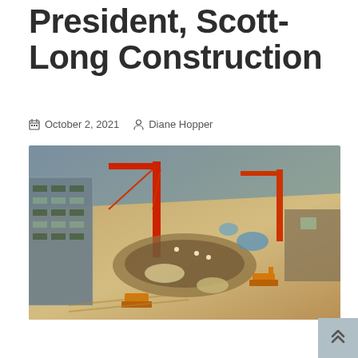President, Scott-Long Construction
October 2, 2021  Diane Hopper
[Figure (photo): Aerial view of a construction site showing workers, cranes, excavation areas, building structures, and construction equipment from above.]
[Figure (other): Scroll-to-top button with double chevron up arrow icon, light grey background, positioned at bottom right corner.]